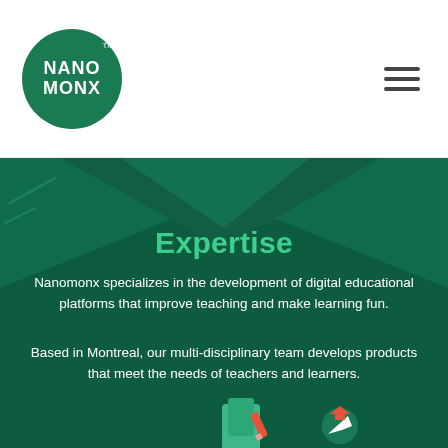[Figure (logo): Nanomonx logo: circular dark green badge with white 'NANO MONX' text and TM mark]
[Figure (other): Hamburger menu icon (three horizontal lines)]
[Figure (illustration): Dark teal background with lighter teal mountain/diamond geometric shapes]
Expertise
Nanomonx specializes in the development of digital educational platforms that improve teaching and make learning fun.
Based in Montreal, our multi-disciplinary team develops products that meet the needs of teachers and learners.
[Figure (illustration): Partial icons at bottom: a tablet/document with pencil icon and a graduation cap/arrow icon]